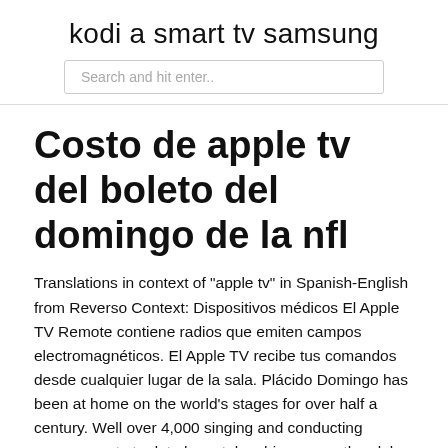kodi a smart tv samsung
Search and hit enter..
Costo de apple tv del boleto del domingo de la nfl
Translations in context of "apple tv" in Spanish-English from Reverso Context: Dispositivos médicos El Apple TV Remote contiene radios que emiten campos electromagnéticos. El Apple TV recibe tus comandos desde cualquier lugar de la sala. Plácido Domingo has been at home on the world's stages for over half a century. Well over 4,000 singing and conducting engagements to date have taken him across the globe, from leading opera houses to historic concerts